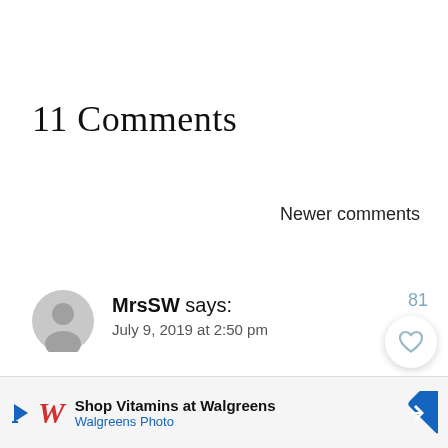11 Comments
Newer comments
MrsSW says:
July 9, 2019 at 2:50 pm
So pretty!
[Figure (screenshot): Walgreens ad banner: Shop Vitamins at Walgreens - Walgreens Photo]
Rega... en my g... other